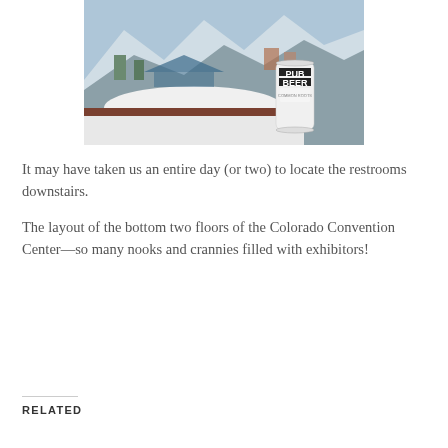[Figure (photo): A can of Pub Beer sitting on a railing or ledge outdoors in a snowy mountain setting. The background shows snow, trees, and ski resort buildings under a blue sky.]
It may have taken us an entire day (or two) to locate the restrooms downstairs.
The layout of the bottom two floors of the Colorado Convention Center—so many nooks and crannies filled with exhibitors!
RELATED